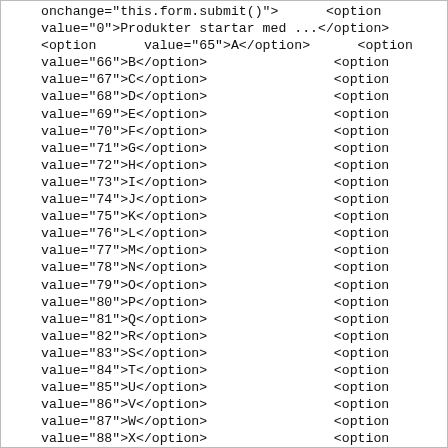onchange="this.form.submit()">      <option value="0">Produkter startar med ...</option> <option      value="65">A</option>      <option value="66">B</option>                <option value="67">C</option>                <option value="68">D</option>                <option value="69">E</option>                <option value="70">F</option>                <option value="71">G</option>                <option value="72">H</option>                <option value="73">I</option>                <option value="74">J</option>                <option value="75">K</option>                <option value="76">L</option>                <option value="77">M</option>                <option value="78">N</option>                <option value="79">O</option>                <option value="80">P</option>                <option value="81">Q</option>                <option value="82">R</option>                <option value="83">S</option>                <option value="84">T</option>                <option value="85">U</option>                <option value="86">V</option>                <option value="87">W</option>                <option value="88">X</option>                <option value="89">Y</option>                <option value="90">Z</option>                <option value="48">0</option>                <option value="49">1</option>